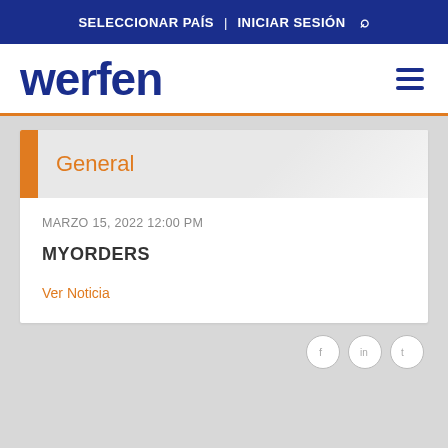SELECCIONAR PAÍS | INICIAR SESIÓN 🔍
[Figure (logo): Werfen company logo in dark blue bold text with hamburger menu icon]
General
MARZO 15, 2022 12:00 PM
MYORDERS
Ver Noticia